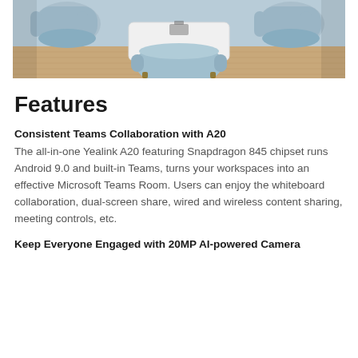[Figure (photo): Meeting room with light blue upholstered chairs arranged around a white table, with a screen/monitor visible on the table, wooden floor and light blue-grey walls in background.]
Features
Consistent Teams Collaboration with A20
The all-in-one Yealink A20 featuring Snapdragon 845 chipset runs Android 9.0 and built-in Teams, turns your workspaces into an effective Microsoft Teams Room. Users can enjoy the whiteboard collaboration, dual-screen share, wired and wireless content sharing, meeting controls, etc.
Keep Everyone Engaged with 20MP AI-powered Camera